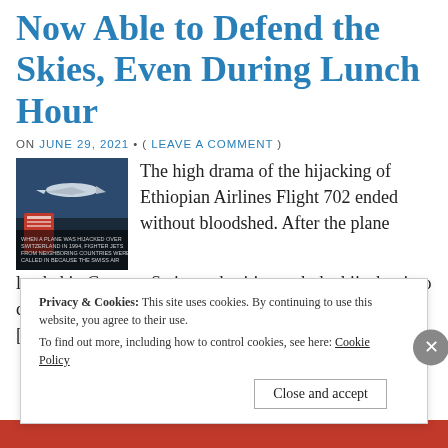Now Able to Defend the Skies, Even During Lunch Hour
ON JUNE 29, 2021 • ( LEAVE A COMMENT )
[Figure (photo): Fighter jet image with dark background and text overlay referencing Switzerland hijacking 1994]
The high drama of the hijacking of Ethiopian Airlines Flight 702 ended without bloodshed. After the plane landed in Geneva, Swiss authorities took the hijacker into custody, and all 202 passengers and [...]
Privacy & Cookies: This site uses cookies. By continuing to use this website, you agree to their use.
To find out more, including how to control cookies, see here: Cookie Policy
Close and accept